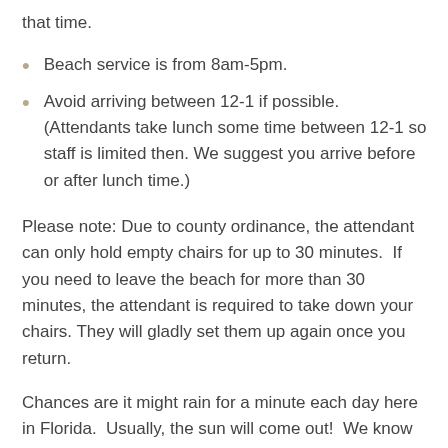that time.
Beach service is from 8am-5pm.
Avoid arriving between 12-1 if possible.  (Attendants take lunch some time between 12-1 so staff is limited then. We suggest you arrive before or after lunch time.)
Please note: Due to county ordinance, the attendant can only hold empty chairs for up to 30 minutes.  If you need to leave the beach for more than 30 minutes, the attendant is required to take down your chairs. They will gladly set them up again once you return.
Chances are it might rain for a minute each day here in Florida.  Usually, the sun will come out!  We know you